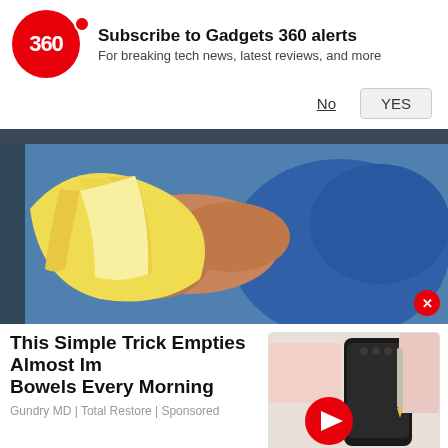[Figure (logo): Gadgets 360 red circle logo with '360' text in white]
Subscribe to Gadgets 360 alerts
For breaking tech news, latest reviews, and more
No   YES
[Figure (photo): Person in blue sleeveless top peeling a banana]
This Simple Trick Empties Almost Im Bowels Every Morning
Gundry MD | Total Restore | Sponsored
[Figure (screenshot): Video thumbnail showing a dark smartphone with play button overlay]
[Figure (other): Brown repeating strip/banner bar]
Opteon Refrigerants
Opteon™ YF. The Brand You Can Trust